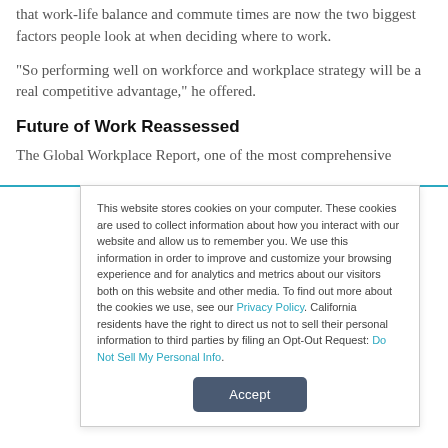that work-life balance and commute times are now the two biggest factors people look at when deciding where to work.
“So performing well on workforce and workplace strategy will be a real competitive advantage,” he offered.
Future of Work Reassessed
The Global Workplace Report, one of the most comprehensive
This website stores cookies on your computer. These cookies are used to collect information about how you interact with our website and allow us to remember you. We use this information in order to improve and customize your browsing experience and for analytics and metrics about our visitors both on this website and other media. To find out more about the cookies we use, see our Privacy Policy. California residents have the right to direct us not to sell their personal information to third parties by filing an Opt-Out Request: Do Not Sell My Personal Info.